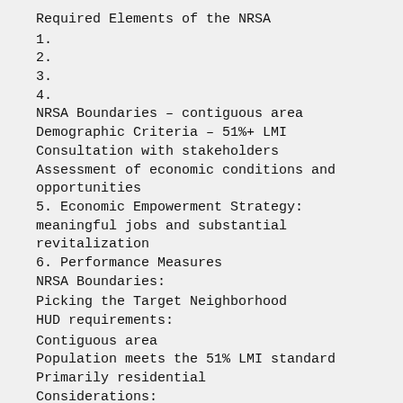Required Elements of the NRSA
1.
2.
3.
4.
NRSA Boundaries – contiguous area
Demographic Criteria – 51%+ LMI
Consultation with stakeholders
Assessment of economic conditions and opportunities
5. Economic Empowerment Strategy: meaningful jobs and substantial revitalization
6. Performance Measures
NRSA Boundaries:
Picking the Target Neighborhood
HUD requirements:
Contiguous area
Population meets the 51% LMI standard
Primarily residential
Considerations:
Natural/historic boundaries